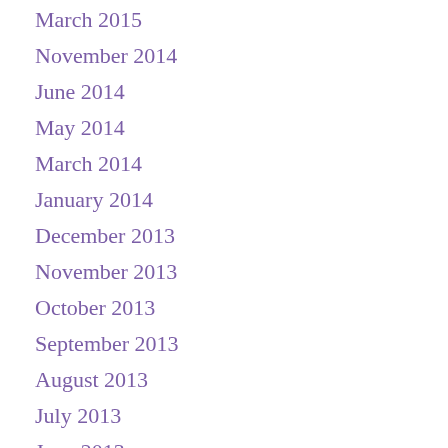March 2015
November 2014
June 2014
May 2014
March 2014
January 2014
December 2013
November 2013
October 2013
September 2013
August 2013
July 2013
June 2013
May 2013
April 2013
March 2013
February 2013